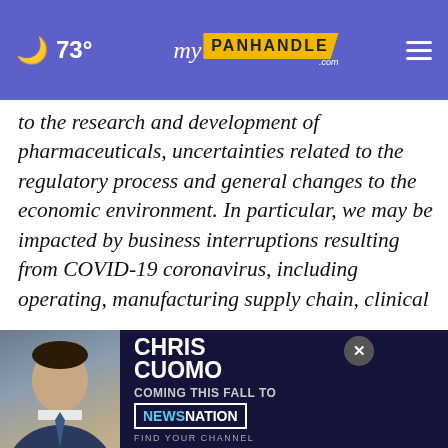73° myPanhandle.com
to the research and development of pharmaceuticals, uncertainties related to the regulatory process and general changes to the economic environment. In particular, we may be impacted by business interruptions resulting from COVID-19 coronavirus, including operating, manufacturing supply chain, clinical trial and project development delays and disruptions, labour shortages, travel and shipping disruption, and s[taffing implications and the actions of] gover[nment authorities]
[Figure (screenshot): Advertisement banner for Chris Cuomo Coming This Fall to NewsNation, with close button overlay]